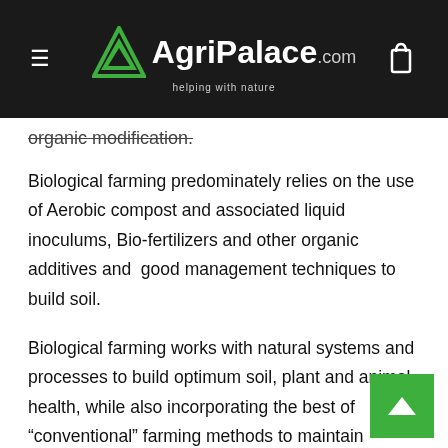AgriPalace.com – helping with nature
organic modification.
Biological farming predominately relies on the use of Aerobic compost and associated liquid inoculums, Bio-fertilizers and other organic additives and  good management techniques to build soil.
Biological farming works with natural systems and processes to build optimum soil, plant and animal health, while also incorporating the best of “conventional” farming methods to maintain production levels and quality. Ultimately it also looks for outcomes in food nutrition and improved ecosystems health.